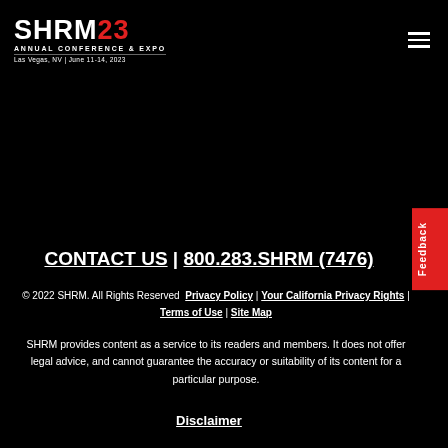[Figure (logo): SHRM23 Annual Conference & Expo logo. White bold text 'SHRM' with red '23', subtitle 'ANNUAL CONFERENCE & EXPO', date 'Las Vegas, NV | June 11-14, 2023']
CONTACT US | 800.283.SHRM (7476)
© 2022 SHRM. All Rights Reserved  Privacy Policy | Your California Privacy Rights | Terms of Use | Site Map
SHRM provides content as a service to its readers and members. It does not offer legal advice, and cannot guarantee the accuracy or suitability of its content for a particular purpose.
Disclaimer